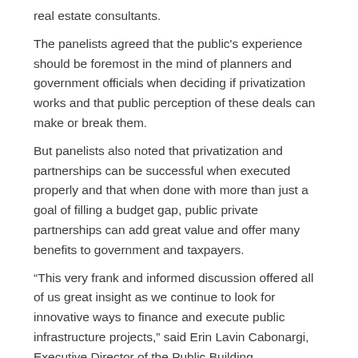real estate consultants.
The panelists agreed that the public's experience should be foremost in the mind of planners and government officials when deciding if privatization works and that public perception of these deals can make or break them.
But panelists also noted that privatization and partnerships can be successful when executed properly and that when done with more than just a goal of filling a budget gap, public private partnerships can add great value and offer many benefits to government and taxpayers.
“This very frank and informed discussion offered all of us great insight as we continue to look for innovative ways to finance and execute public infrastructure projects,” said Erin Lavin Cabonargi, Executive Director of the Public Building Commission who also serves as the local Program Co-Chair for ULI’s PDIC. “We agreed that our cities possess many great assets that can be leveraged in different ways to maximize private investment while still maintaining the public trust.” Lavin Cabonargi expressed thanks to the panelists for